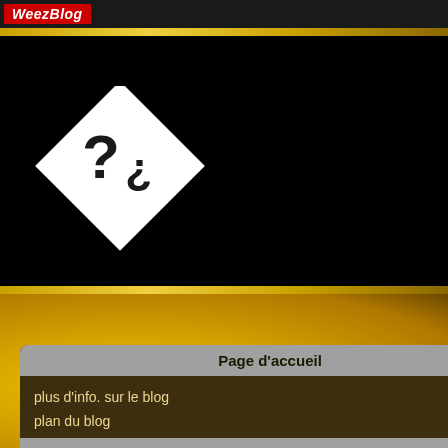WeezBlog
[Figure (logo): White diamond shape with question marks (?¿) inside, on black background - WeezBlog logo]
Page d'accueil
plus d'info. sur le blog
plan du blog
Catégories
toutes catégories
China Raincoat fabric Supplier
waterproof mattress fabric
Com
Pseudo:
Tout propos injurieux ou à caractère i